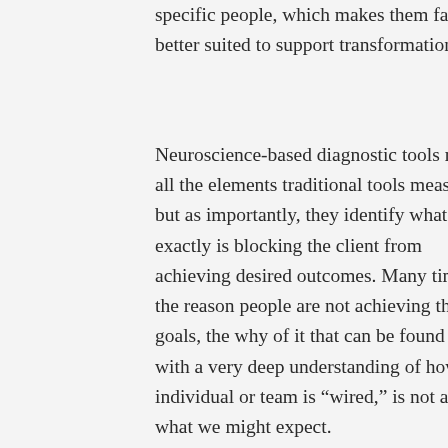specific people, which makes them far better suited to support transformation.
Neuroscience-based diagnostic tools map all the elements traditional tools measure, but as importantly, they identify what exactly is blocking the client from achieving desired outcomes. Many times the reason people are not achieving their goals, the why of it that can be found only with a very deep understanding of how an individual or team is "wired," is not at all what we might expect.
Traditional diagnostic tools tell us that the client is more innovative, less detail oriented, more collaborative, and more resistant to change. Neuroscience-based diagnostic tools give us insight into WHY